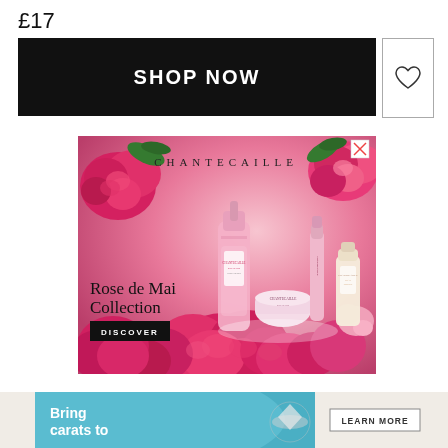£17
[Figure (screenshot): Black 'SHOP NOW' button with white bold text, and a separate white box with a heart icon outline to the right]
[Figure (advertisement): Chantecaille 'Rose de Mai Collection' cosmetics advertisement with pink roses background, product bottles, DISCOVER button, brand name at top, and X close button]
[Figure (advertisement): Partial advertisement with teal/blue background showing 'Bring carats to' text in white bold, diamond ring imagery, and 'LEARN MORE' button]